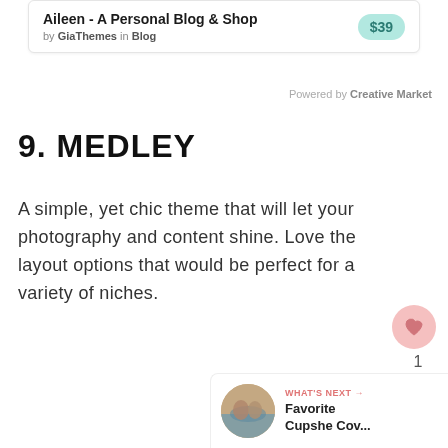[Figure (other): Product card showing 'Aileen - A Personal Blog & Shop' by GiaThemes in Blog category, priced at $39]
Powered by Creative Market
9. MEDLEY
A simple, yet chic theme that will let your photography and content shine. Love the layout options that would be perfect for a variety of niches.
[Figure (other): Floating heart/like button (pink circle with heart icon), count of 1, and share icon on right side]
[Figure (other): WHAT'S NEXT panel with thumbnail image and text 'Favorite Cupshe Cov...']